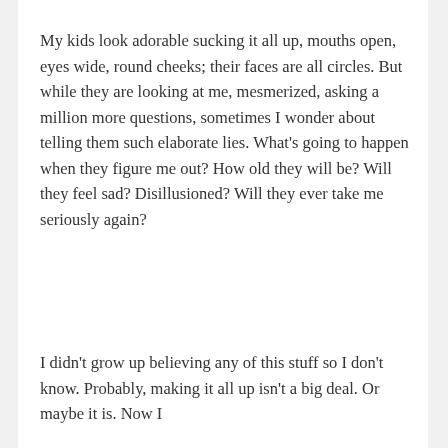My kids look adorable sucking it all up, mouths open, eyes wide, round cheeks; their faces are all circles. But while they are looking at me, mesmerized, asking a million more questions, sometimes I wonder about telling them such elaborate lies. What’s going to happen when they figure me out? How old they will be? Will they feel sad? Disillusioned? Will they ever take me seriously again?
I didn’t grow up believing any of this stuff so I don’t know. Probably, making it all up isn’t a big deal. Or maybe it is. Now I